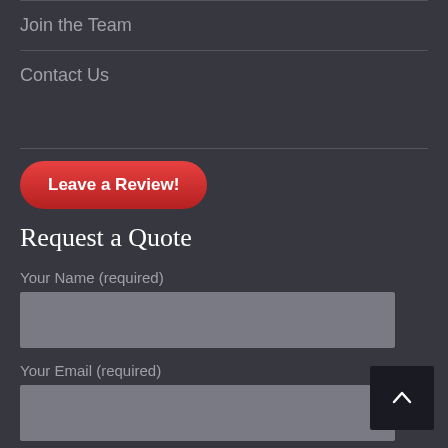Join the Team
Contact Us
[Figure (other): Red rounded button labeled 'Leave a Review!']
Request a Quote
Your Name (required)
[Figure (other): Text input field for name]
Your Email (required)
[Figure (other): Text input field for email]
Phone Number